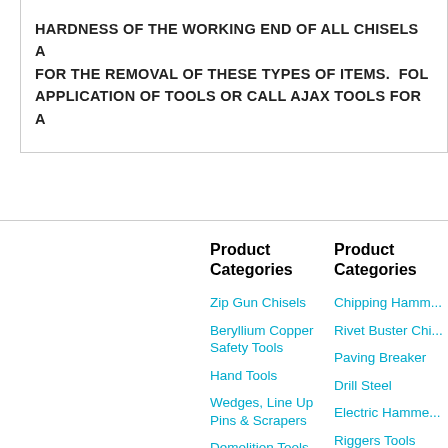HARDNESS OF THE WORKING END OF ALL CHISELS A... FOR THE REMOVAL OF THESE TYPES OF ITEMS. FOL... APPLICATION OF TOOLS OR CALL AJAX TOOLS FOR A...
Product Categories
Zip Gun Chisels
Beryllium Copper Safety Tools
Hand Tools
Wedges, Line Up Pins & Scrapers
Demolition Tools
Weld Flux Scaling Hammer Chisels & Accessories
Product Categories
Chipping Hamm...
Rivet Buster Chi...
Paving Breaker
Drill Steel
Electric Hamme...
Riggers Tools